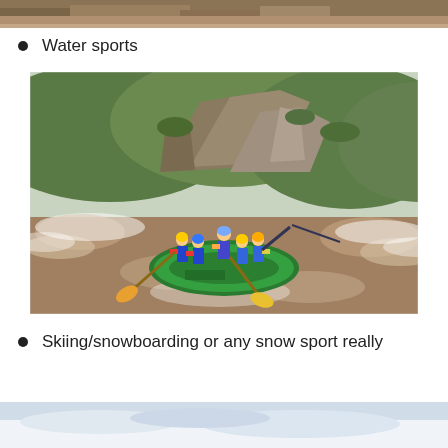[Figure (photo): Top portion of an outdoor photo, partially cropped at the top of the page]
Water sports
[Figure (photo): Group of people white water rafting in a green inflatable raft on a turbulent brown river, with rocky cliffs and green hills in the background. People wearing blue jackets, yellow life vests, and helmets, paddling with yellow and blue paddles.]
Skiing/snowboarding or any snow sport really
[Figure (photo): Bottom portion of a snow or winter sports photo, partially cropped at the bottom of the page]